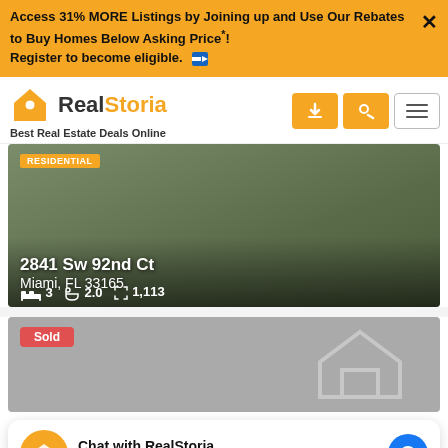Access 31% MORE Listings by Joining up and Use Our Rebates to Buy Homes Below Asking Price*! Register to become eligible.
[Figure (logo): RealStoria logo with house icon. Text reads 'Real' in dark and 'Storia' in orange. Tagline: Best Real Estate Deals Online]
[Figure (photo): Residential property photo showing a house exterior with lawn and driveway. Overlaid text: RESIDENTIAL badge, address 2841 Sw 92nd Ct, Miami, FL 33165, with 3 beds, 2.0 baths, 1,113 sqft icons]
[Figure (photo): Grey card with Sold badge in red. Shows a grey placeholder with a home outline icon.]
Chat with RealStoria
Hi! How can we help you?
7280 Sw 90th St 701